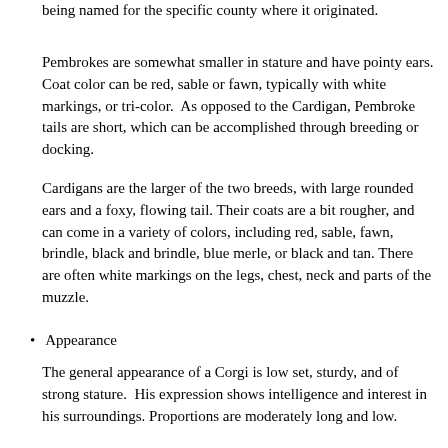being named for the specific county where it originated.
Pembrokes are somewhat smaller in stature and have pointy ears. Coat color can be red, sable or fawn, typically with white markings, or tri-color.  As opposed to the Cardigan, Pembroke tails are short, which can be accomplished through breeding or docking.
Cardigans are the larger of the two breeds, with large rounded ears and a foxy, flowing tail. Their coats are a bit rougher, and can come in a variety of colors, including red, sable, fawn, brindle, black and brindle, blue merle, or black and tan. There are often white markings on the legs, chest, neck and parts of the muzzle.
Appearance
The general appearance of a Corgi is low set, sturdy, and of strong stature.  His expression shows intelligence and interest in his surroundings. Proportions are moderately long and low.